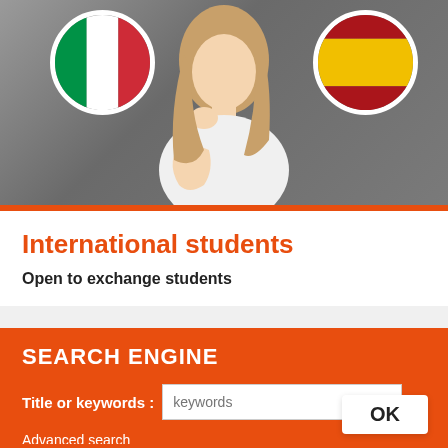[Figure (photo): Hero image showing a young woman in a thinking pose (hand on chin, looking up) against a grey concrete wall background. Two circular flag icons are overlaid: the Italian flag (green, white, red vertical stripes) on the upper left, and the Spanish flag (red, yellow, red horizontal stripes) on the upper right. Both circles have white borders.]
International students
Open to exchange students
SEARCH ENGINE
Title or keywords : keywords
Advanced search